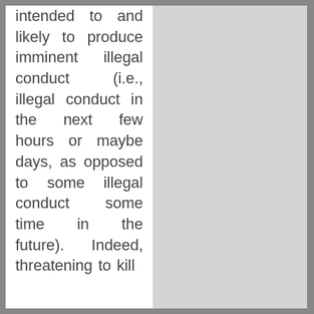intended to and likely to produce imminent illegal conduct (i.e., illegal conduct in the next few hours or maybe days, as opposed to some illegal conduct some time in the future). Indeed, threatening to kill